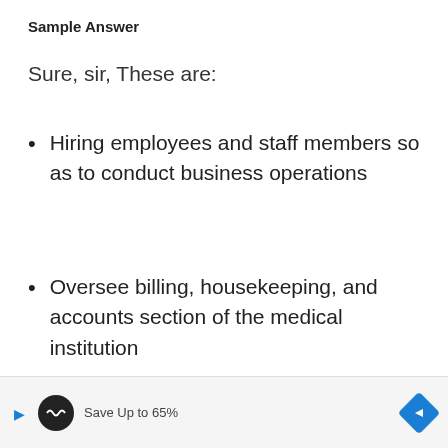Sample Answer
Sure, sir, These are:
Hiring employees and staff members so as to conduct business operations
Oversee billing, housekeeping, and accounts section of the medical institution
Save Up to 65%